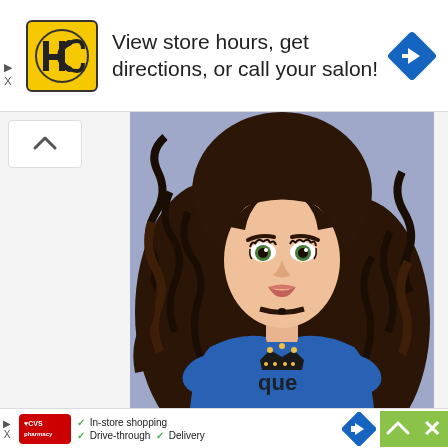[Figure (infographic): Top advertisement banner: HC (Hair Club) logo in yellow square, text 'View store hours, get directions, or call your salon!', blue diamond navigation arrow icon on right. Small play/skip and X controls on left edge.]
[Figure (illustration): Digital illustration of a young woman with long, voluminous dark brown curly hair. She has prominent eye makeup and is wearing a blue oversized t-shirt with a crown graphic and partial text 'que'. Background is muted blue-lavender.]
[Figure (infographic): Bottom advertisement banner: CVS Pharmacy logo in red, green checkmarks with text 'In-store shopping', 'Drive-through', 'Delivery', blue diamond navigation arrow, green collapse arrow box, green X close button.]